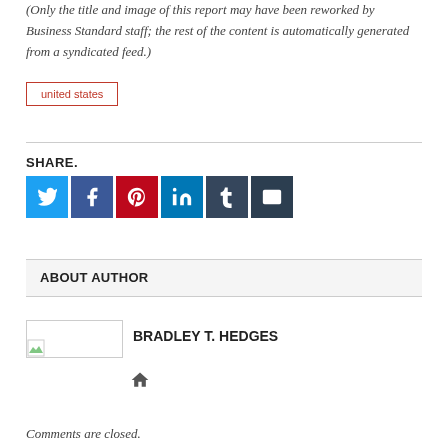(Only the title and image of this report may have been reworked by Business Standard staff; the rest of the content is automatically generated from a syndicated feed.)
united states
SHARE.
[Figure (infographic): Social share buttons: Twitter (blue), Facebook (dark blue), Pinterest (red), LinkedIn (teal-blue), Tumblr (dark navy), Email (dark slate)]
ABOUT AUTHOR
[Figure (photo): Author photo placeholder image for Bradley T. Hedges]
BRADLEY T. HEDGES
[Figure (infographic): Home icon link]
Comments are closed.